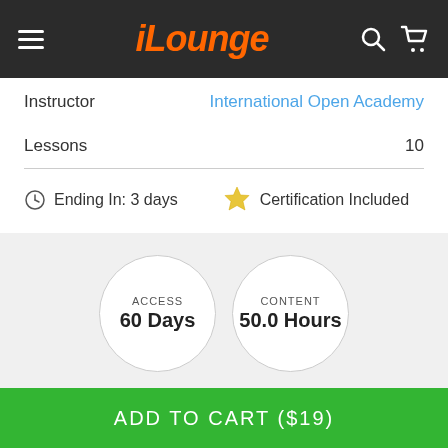iLounge
Instructor: International Open Academy
Lessons: 10
Ending In: 3 days
Certification Included
ACCESS 60 Days
CONTENT 50.0 Hours
Description
ADD TO CART ($19)